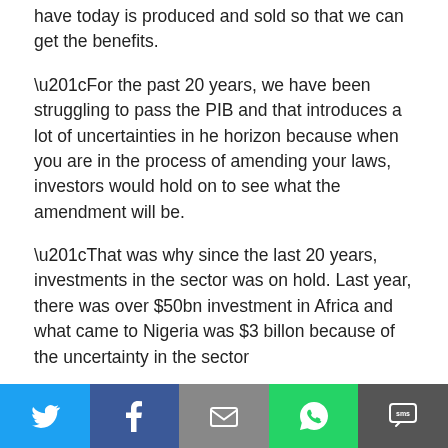have today is produced and sold so that we can get the benefits.
“For the past 20 years, we have been struggling to pass the PIB and that introduces a lot of uncertainties in he horizon because when you are in the process of amending your laws, investors would hold on to see what the amendment will be.
“That was why since the last 20 years, investments in the sector was on hold. Last year, there was over $50bn investment in Africa and what came to Nigeria was $3 billon because of the uncertainty in the sector
“Our main challenge is resource management. If we
[Figure (infographic): Social share bar with Twitter, Facebook, Email, WhatsApp, and SMS buttons]